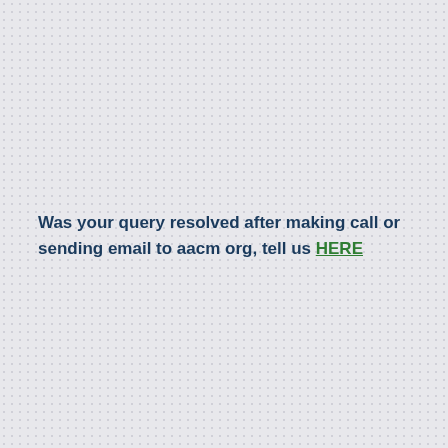Was your query resolved after making call or sending email to aacm org, tell us HERE